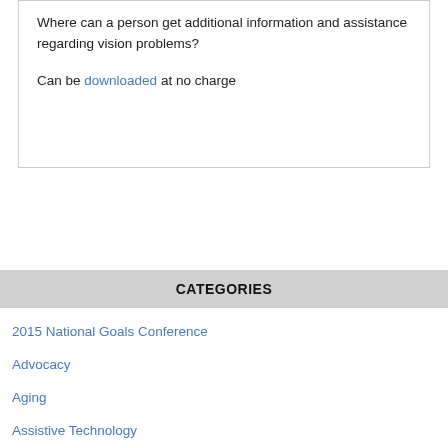Where can a person get additional information and assistance regarding vision problems?
Can be downloaded at no charge
CATEGORIES
2015 National Goals Conference
Advocacy
Aging
Assistive Technology